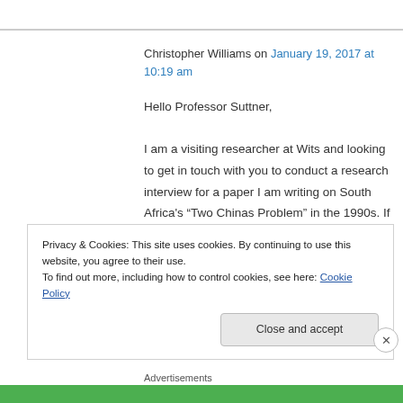Christopher Williams on January 19, 2017 at 10:19 am
Hello Professor Suttner,

I am a visiting researcher at Wits and looking to get in touch with you to conduct a research interview for a paper I am writing on South Africa's “Two Chinas Problem” in the 1990s. If you can email me I will provide more information
Privacy & Cookies: This site uses cookies. By continuing to use this website, you agree to their use.
To find out more, including how to control cookies, see here: Cookie Policy
Close and accept
Advertisements